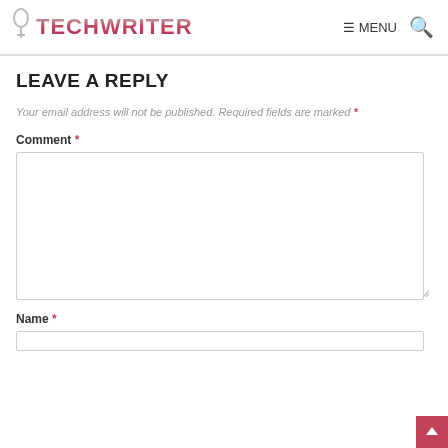TECHWRITER | MENU [search icon]
LEAVE A REPLY
Your email address will not be published. Required fields are marked *
Comment *
Name *